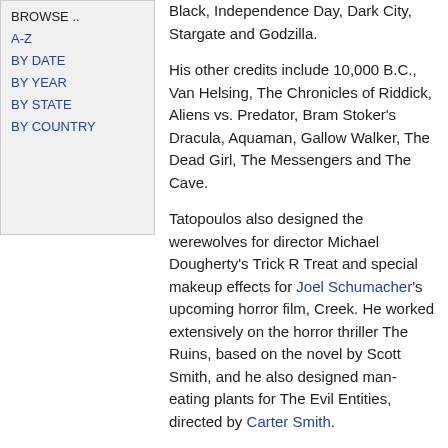Black, Independence Day, Dark City, Stargate and Godzilla.
His other credits include 10,000 B.C., Van Helsing, The Chronicles of Riddick, Aliens vs. Predator, Bram Stoker's Dracula, Aquaman, Gallow Walker, The Dead Girl, The Messengers and The Cave.
Tatopoulos also designed the werewolves for director Michael Dougherty's Trick R Treat and special makeup effects for Joel Schumacher's upcoming horror film, Creek. He worked extensively on the horror thriller The Ruins, based on the novel by Scott Smith, and he also designed man-eating plants for The Evil Entities, directed by Carter Smith.
In 2008, Tatopoulos teamed with Samuel Hadida's production team and director Michael Bassett on the action-adventure-fantasy Solomon Kane, based on the comic of the same name. He also collaborated with director Christophe Gans on the action
BROWSE ..
A-Z
BY DATE
BY YEAR
BY STATE
BY COUNTRY